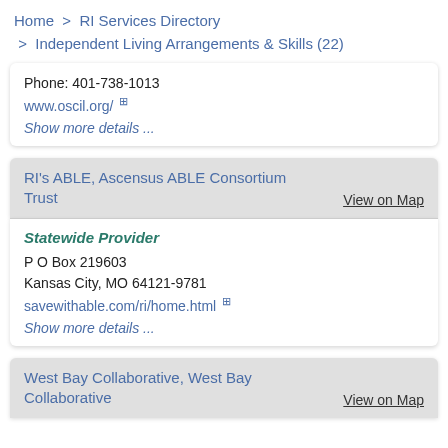Home > RI Services Directory > Independent Living Arrangements & Skills (22)
Phone: 401-738-1013
www.oscil.org/
Show more details ...
RI's ABLE, Ascensus ABLE Consortium Trust
View on Map
Statewide Provider
P O Box 219603
Kansas City, MO 64121-9781
savewithable.com/ri/home.html
Show more details ...
West Bay Collaborative, West Bay Collaborative
View on Map